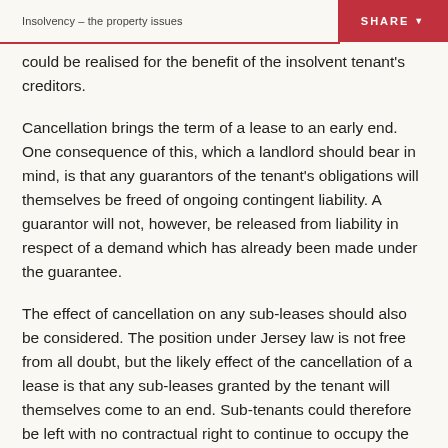Insolvency – the property issues
could be realised for the benefit of the insolvent tenant's creditors.
Cancellation brings the term of a lease to an early end. One consequence of this, which a landlord should bear in mind, is that any guarantors of the tenant's obligations will themselves be freed of ongoing contingent liability. A guarantor will not, however, be released from liability in respect of a demand which has already been made under the guarantee.
The effect of cancellation on any sub-leases should also be considered. The position under Jersey law is not free from all doubt, but the likely effect of the cancellation of a lease is that any sub-leases granted by the tenant will themselves come to an end. Sub-tenants could therefore be left with no contractual right to continue to occupy the sub-let premises and thus at a disadvantage in negotiations with the landlord